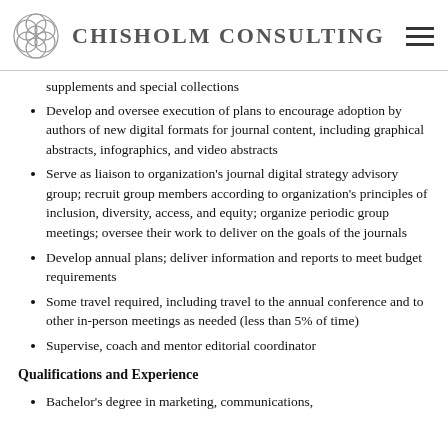Chisholm Consulting
supplements and special collections
Develop and oversee execution of plans to encourage adoption by authors of new digital formats for journal content, including graphical abstracts, infographics, and video abstracts
Serve as liaison to organization's journal digital strategy advisory group; recruit group members according to organization's principles of inclusion, diversity, access, and equity; organize periodic group meetings; oversee their work to deliver on the goals of the journals
Develop annual plans; deliver information and reports to meet budget requirements
Some travel required, including travel to the annual conference and to other in-person meetings as needed (less than 5% of time)
Supervise, coach and mentor editorial coordinator
Qualifications and Experience
Bachelor's degree in marketing, communications,